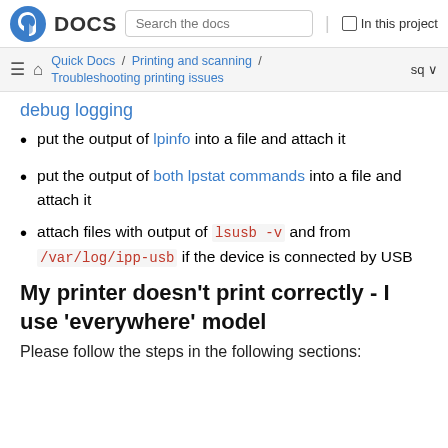Fedora DOCS | Search the docs | In this project
Quick Docs / Printing and scanning / Troubleshooting printing issues | sq
debug logging
put the output of lpinfo into a file and attach it
put the output of both lpstat commands into a file and attach it
attach files with output of lsusb -v and from /var/log/ipp-usb if the device is connected by USB
My printer doesn't print correctly - I use 'everywhere' model
Please follow the steps in the following sections: